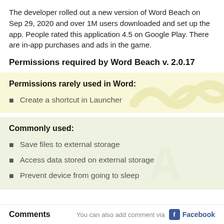The developer rolled out a new version of Word Beach on Sep 29, 2020 and over 1M users downloaded and set up the app. People rated this application 4.5 on Google Play. There are in-app purchases and ads in the game.
Permissions required by Word Beach v. 2.0.17
Permissions rarely used in Word:
Create a shortcut in Launcher
Commonly used:
Save files to external storage
Access data stored on external storage
Prevent device from going to sleep
Comments   You can also add comment via   Facebook